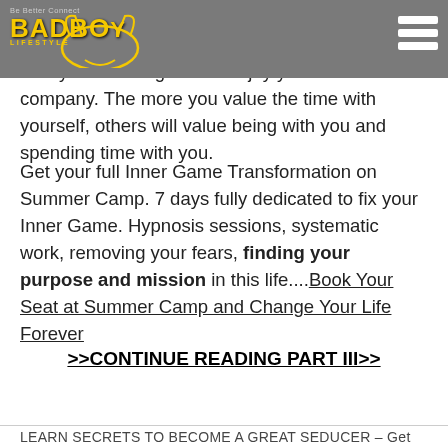BADBOY LIFESTYLE
and enjoy yourself is when you are alone. Enjoy that time by living alone. You should not feel lonely when living alone. Enjoy your own company. The more you value the time with yourself, others will value being with you and spending time with you.
Get your full Inner Game Transformation on Summer Camp. 7 days fully dedicated to fix your Inner Game. Hypnosis sessions, systematic work, removing your fears, finding your purpose and mission in this life....Book Your Seat at Summer Camp and Change Your Life Forever
>>CONTINUE READING PART III>>
LEARN SECRETS TO BECOME A GREAT SEDUCER – Get